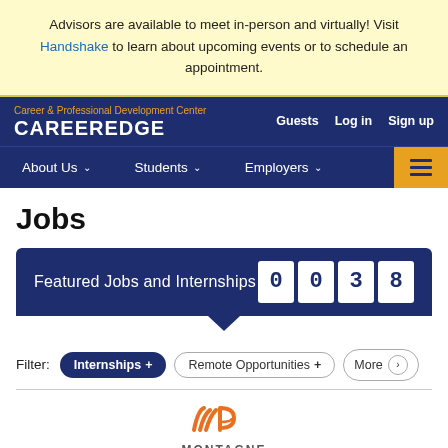Advisors are available to meet in-person and virtually!  Visit Handshake to learn about upcoming events or to schedule an appointment.
Career & Professional Development Center CAREEREDGE | Guests  Log in  Sign up
About Us  Students  Employers
Jobs
[Figure (infographic): Featured Jobs and Internships banner with 4-digit counter showing 0038]
Filter:  Internships +  Remote Opportunities +  More >
[Figure (logo): Montagne Powers logo with orange stylized M/P mark and text MONTAGNE POWERS]